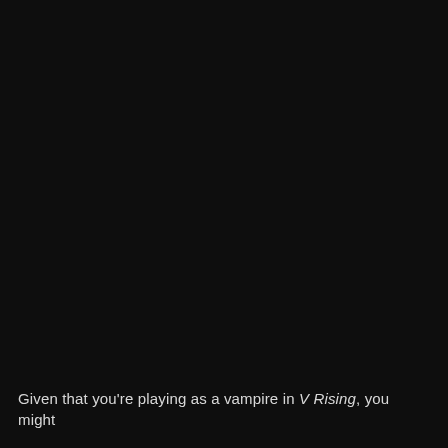[Figure (screenshot): Nearly entirely black screen/dark background, likely a video frame or game screenshot from V Rising with subtitle text at the bottom.]
Given that you're playing as a vampire in V Rising, you might